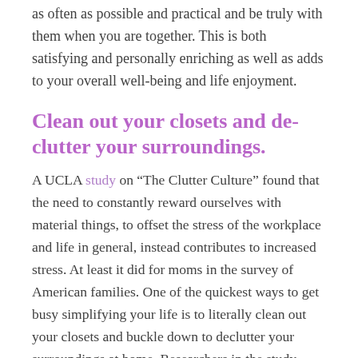as often as possible and practical and be truly with them when you are together. This is both satisfying and personally enriching as well as adds to your overall well-being and life enjoyment.
Clean out your closets and de-clutter your surroundings.
A UCLA study on “The Clutter Culture” found that the need to constantly reward ourselves with material things, to offset the stress of the workplace and life in general, instead contributes to increased stress. At least it did for moms in the survey of American families. One of the quickest ways to get busy simplifying your life is to literally clean out your closets and buckle down to declutter your surroundings at home. Researchers in the study found that participants mentioned parking their